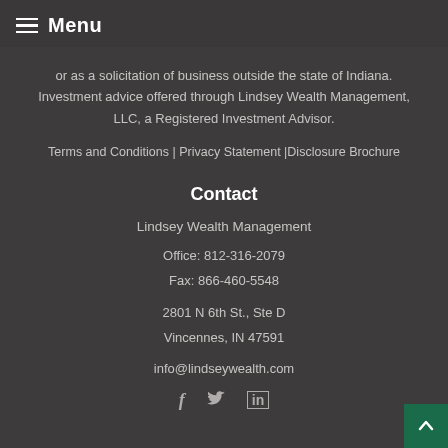Menu
or as a solicitation of business outside the state of Indiana. Investment advice offered through Lindsey Wealth Management, LLC, a Registered Investment Advisor.
Terms and Conditions | Privacy Statement |Disclosure Brochure
Contact
Lindsey Wealth Management
Office:  812-316-2079
Fax:  866-460-5548
2801 N 6th St., Ste D
Vincennes, IN 47591
info@lindseywealth.com
[Figure (other): Social media icons: Facebook (f), Twitter (bird), LinkedIn (in)]